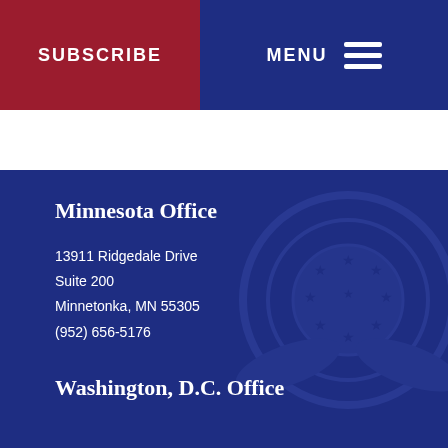SUBSCRIBE
MENU
Minnesota Office
13911 Ridgedale Drive
Suite 200
Minnetonka, MN 55305
(952) 656-5176
Washington, D.C. Office